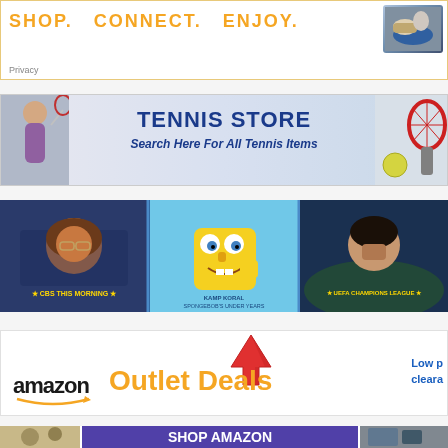[Figure (screenshot): Top ad banner with orange text 'SHOP. CONNECT. ENJOY.' on white background with sports shoes/equipment image on right, and 'Privacy' text below]
[Figure (screenshot): Tennis Store banner ad with woman holding tennis racket on left, bold blue 'TENNIS STORE' text with italic 'Search Here For All Tennis Items', and tennis racket/ball on right]
[Figure (screenshot): Paramount+ streaming banner showing three panels: CBS This Morning host (woman with glasses), Kamp Koral SpongeBob's Under Years (SpongeBob character), and UEFA Champions League (soccer player)]
[Figure (screenshot): Amazon Outlet Deals ad with red upward arrow, Amazon logo in black, 'Outlet Deals' in orange text, and 'Low p... cleara...' text on right]
[Figure (screenshot): Shop Amazon banner ad partially visible at bottom with purple/blue background and white bold 'SHOP AMAZON' text, flanked by product images]